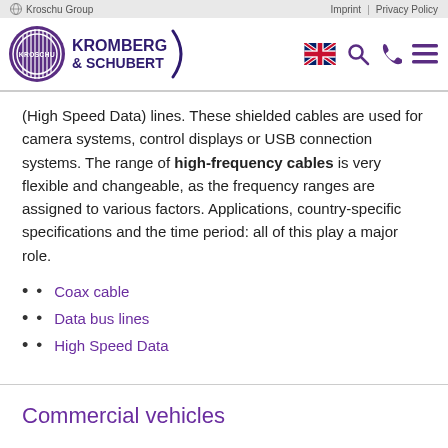Kroschu Group | Imprint | Privacy Policy
[Figure (logo): Kromberg & Schubert / Kroschu Group logo with circular purple emblem and brand name]
(High Speed Data) lines. These shielded cables are used for camera systems, control displays or USB connection systems. The range of high-frequency cables is very flexible and changeable, as the frequency ranges are assigned to various factors. Applications, country-specific specifications and the time period: all of this play a major role.
Coax cable
Data bus lines
High Speed Data
Commercial vehicles